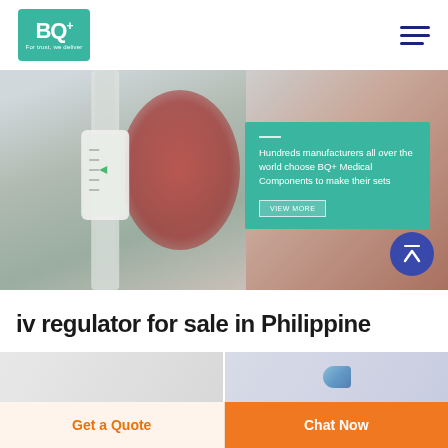[Figure (logo): BQ+ logo in teal/green square with tagline 'For trust, we deliver']
[Figure (photo): Hero banner showing close-up of IV drip chamber/regulator medical device with blurred red background, overlaid with teal text box]
Hundreds manufacturers all over the world choose BQ+ Medical Components to make their sets
iv regulator for sale in Philippine
[Figure (photo): Product thumbnail - IV regulator on light gray background]
[Figure (photo): Product thumbnail - blue medical device component on light background]
Get a Quote
Chat Now